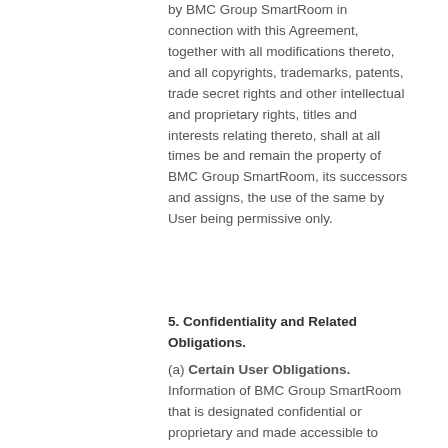by BMC Group SmartRoom in connection with this Agreement, together with all modifications thereto, and all copyrights, trademarks, patents, trade secret rights and other intellectual and proprietary rights, titles and interests relating thereto, shall at all times be and remain the property of BMC Group SmartRoom, its successors and assigns, the use of the same by User being permissive only.
5. Confidentiality and Related Obligations.
(a) Certain User Obligations. Information of BMC Group SmartRoom that is designated confidential or proprietary and made accessible to User through User's use of BMC Group SmartRoom...